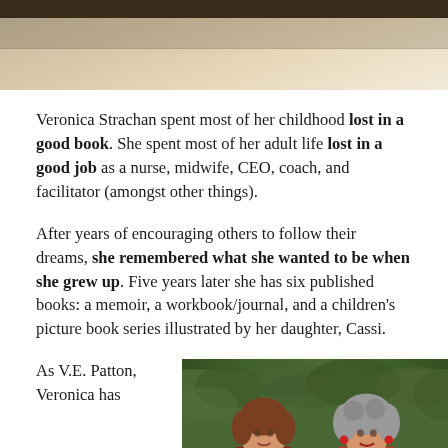[Figure (photo): Top portion of a photo, showing a wooden surface or table with dark bar at top, beige/cream tones]
Veronica Strachan spent most of her childhood lost in a good book. She spent most of her adult life lost in a good job as a nurse, midwife, CEO, coach, and facilitator (amongst other things).
After years of encouraging others to follow their dreams, she remembered what she wanted to be when she grew up. Five years later she has six published books: a memoir, a workbook/journal, and a children's picture book series illustrated by her daughter, Cassi.
As V.E. Patton, Veronica has
[Figure (photo): Photo of two women smiling in front of green foliage/hedge background — a younger woman with reddish-brown hair on the left and an older woman with gray curly hair and red earrings on the right]